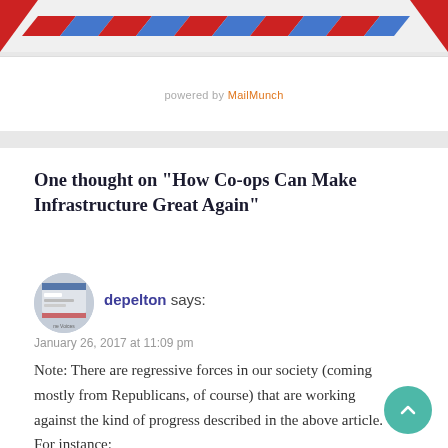[Figure (other): Air mail diagonal stripe banner at top of page with alternating red and blue diagonal stripes on light background]
powered by MailMunch
One thought on “How Co-ops Can Make Infrastructure Great Again”
[Figure (photo): Circular avatar image for user depelton showing a website screenshot thumbnail]
depelton says:
January 26, 2017 at 11:09 pm
Note: There are regressive forces in our society (coming mostly from Republicans, of course) that are working against the kind of progress described in the above article. For instance: